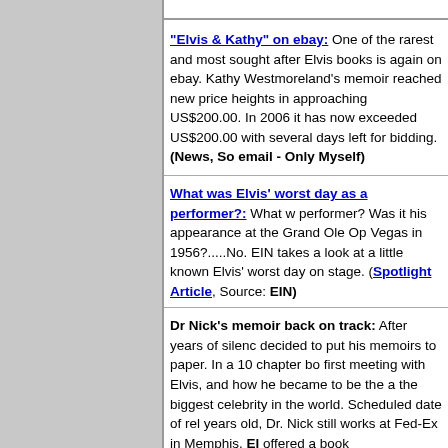"Elvis & Kathy" on ebay: One of the rarest and most sought after Elvis books is again on ebay. Kathy Westmoreland's memoir reached new price heights in approaching US$200.00. In 2006 it has now exceeded US$200.00 with several days left for bidding. (News, So email - Only Myself)
What was Elvis' worst day as a performer?: What w performer? Was it his appearance at the Grand Ole Op Vegas in 1956?.....No. EIN takes a look at a little known Elvis' worst day on stage. (Spotlight Article, Source: EIN)
Dr Nick's memoir back on track: After years of silence, decided to put his memoirs to paper. In a 10 chapter bo first meeting with Elvis, and how he became to be the a the biggest celebrity in the world. Scheduled date of rel years old, Dr. Nick still works at Fed-Ex in Memphis. EIN offered a book synopsis/manuscript (written with Murra Elvis?", to a number of publishers without success. (News/EIN)